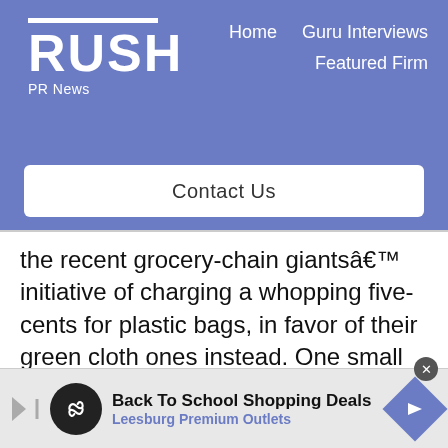RUSH PR News — Home | Guru Interviews | Featured Firm
[Figure (screenshot): Rush PR News website header with blue background, logo, navigation links (Home, Guru Interviews, Featured Firm) and Contact Us button]
the recent grocery-chain giantsâ€™ initiative of charging a whopping five-cents for plastic bags, in favor of their green cloth ones instead. One small step for over-consuming mankind; One giant leap for ridding our dumps of non-biodegradable waste seldom used more than once.
[Figure (infographic): Advertisement banner: Back To School Shopping Deals - Leesburg Premium Outlets]